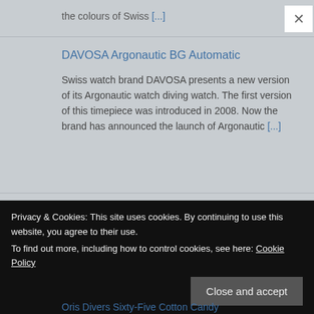the colours of Swiss [...]
DAVOSA Argonautic BG Automatic
Swiss watch brand DAVOSA presents a new version of its Argonautic watch diving watch. The first version of this timepiece was introduced in 2008. Now the brand has announced the launch of Argonautic [...]
TAG Heuer Connected Calibre E4 – Porsche Edition
Created in partnership with Porsche, the new TAG Heuer
Privacy & Cookies: This site uses cookies. By continuing to use this website, you agree to their use.
To find out more, including how to control cookies, see here: Cookie Policy
Close and accept
Oris Divers Sixty-Five Cotton Candy